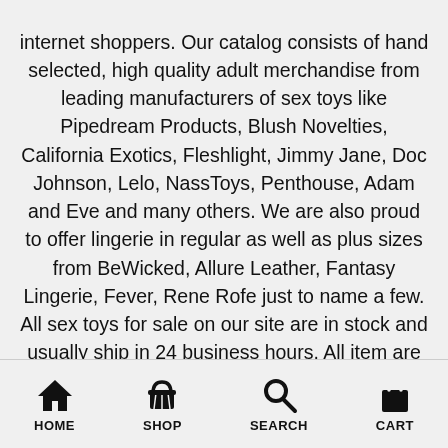internet shoppers. Our catalog consists of hand selected, high quality adult merchandise from leading manufacturers of sex toys like Pipedream Products, Blush Novelties, California Exotics, Fleshlight, Jimmy Jane, Doc Johnson, Lelo, NassToys, Penthouse, Adam and Eve and many others. We are also proud to offer lingerie in regular as well as plus sizes from BeWicked, Allure Leather, Fantasy Lingerie, Fever, Rene Rofe just to name a few. All sex toys for sale on our site are in stock and usually ship in 24 business hours. All item are discreetly packaged and ship in unmarked boxes. Majority of items we carry are Phthalate free! We pride ourselves on great customer service and comprehensive return policy. Visit our news and articles page to find out more about
HOME | SHOP | SEARCH | CART